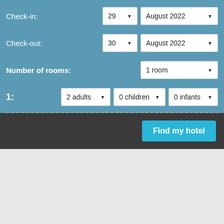Check-in:
29 ▼   August 2022 ▼
Check-out:
30 ▼   August 2022 ▼
Number of rooms:
1 room ▼
1:
2 adults ▼   0 children ▼   0 infants ▼
Find my hotel